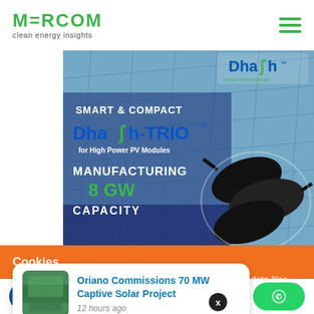MERCOM clean energy insights
[Figure (advertisement): Dhash-TRIO advertisement: Smart & Compact Dhash-TRIO for High Power PV Modules, Manufacturing 8 GW Capacity, with product images on solar panel background]
Cookies
To make this site work properly, we sometimes place small data files called cookies on your device. Most big websites do this too.
[Figure (photo): Notification card: Oriano Commissions 70 MW Captive Solar Project - 12 hours ago, with solar farm thumbnail]
Social share buttons: Facebook, LinkedIn, Twitter, Email, WhatsApp